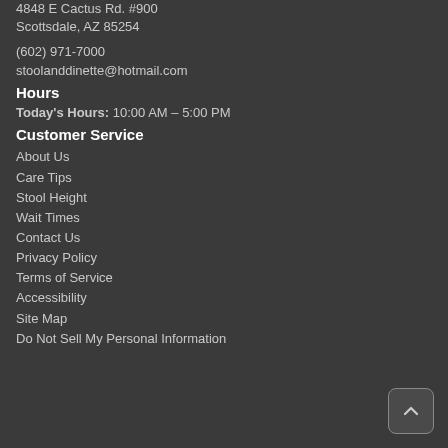4848 E Cactus Rd. #900
Scottsdale, AZ 85254
(602) 971-7000
stoolanddinette@hotmail.com
Hours
Today's Hours: 10:00 AM - 5:00 PM
Customer Service
About Us
Care Tips
Stool Height
Wait Times
Contact Us
Privacy Policy
Terms of Service
Accessibility
Site Map
Do Not Sell My Personal Information